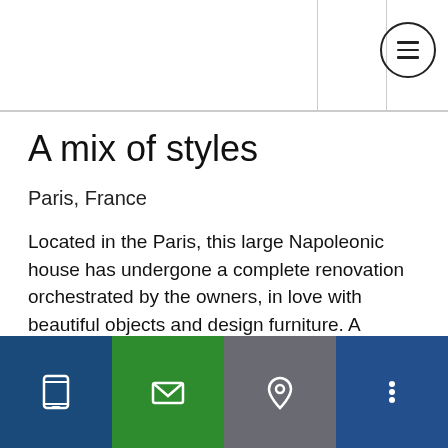A mix of styles
Paris, France
Located in the Paris, this large Napoleonic house has undergone a complete renovation orchestrated by the owners, in love with beautiful objects and design furniture. A successful challenge, resulting in a tasty mix of styles and colours.
The whole interior strongly reflects the owners taste for the great designers of the 20th century. Aesthetic and ultra-
[phone icon] [email icon] [location icon] [more icon]